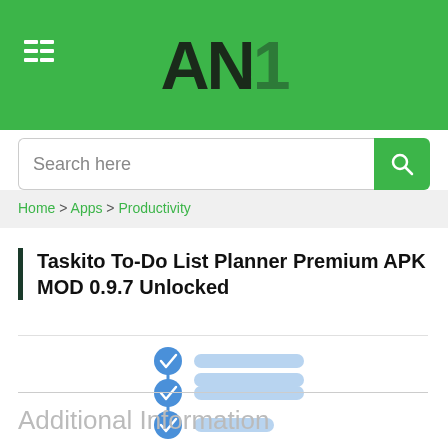AN
Search here
Home > Apps > Productivity
Taskito To-Do List Planner Premium APK MOD 0.9.7 Unlocked
[Figure (illustration): To-do list icon with three checkmark items connected by a vertical line, blue checkboxes and light blue horizontal lines]
Additional Information